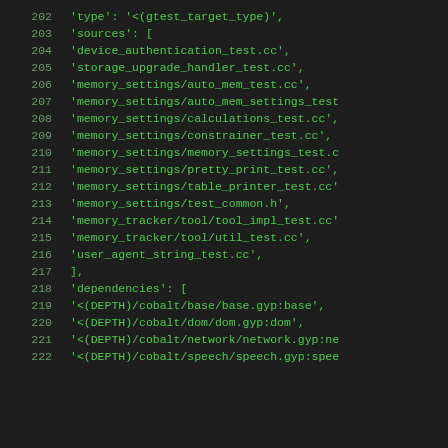202  'type': '<(gtest_target_type)',
203  'sources': [
204    'device_authentication_test.cc',
205    'storage_upgrade_handler_test.cc',
206    'memory_settings/auto_mem_test.cc',
207    'memory_settings/auto_mem_settings_test
208    'memory_settings/calculations_test.cc',
209    'memory_settings/constrainer_test.cc',
210    'memory_settings/memory_settings_test.c
211    'memory_settings/pretty_print_test.cc',
212    'memory_settings/table_printer_test.cc'
213    'memory_settings/test_common.h',
214    'memory_tracker/tool/tool_impl_test.cc'
215    'memory_tracker/tool/util_test.cc',
216    'user_agent_string_test.cc',
217  ],
218  'dependencies': [
219    '<(DEPTH)/cobalt/base/base.gyp:base',
220    '<(DEPTH)/cobalt/dom/dom.gyp:dom',
221    '<(DEPTH)/cobalt/network/network.gyp:ne
222    '<(DEPTH)/cobalt/speech/speech.gyp:spee